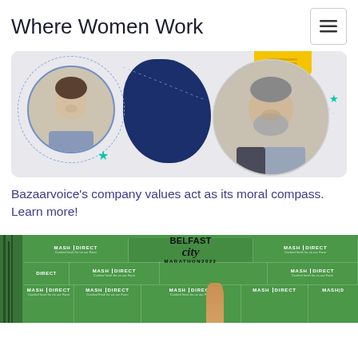Where Women Work
[Figure (photo): Two professional men in circular portrait frames on a decorative background with teal stars and yellow banner — Bazaarvoice promotional image]
Bazaarvoice's company values act as its moral compass. Learn more!
[Figure (photo): Belfast City Marathon 2022 event banner wall with green Mash Direct sponsorship panels and a raised hand in the foreground]